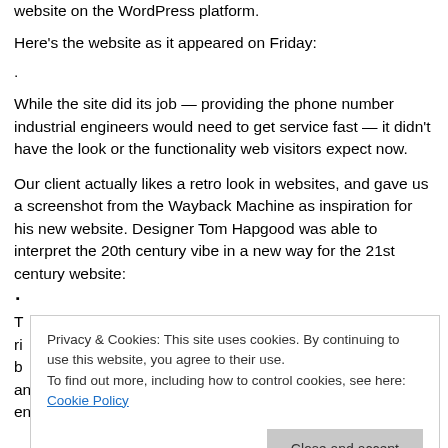website on the WordPress platform.
Here's the website as it appeared on Friday:
.
While the site did its job — providing the phone number industrial engineers would need to get service fast — it didn't have the look or the functionality web visitors expect now.
Our client actually likes a retro look in websites, and gave us a screenshot from the Wayback Machine as inspiration for his new website. Designer Tom Hapgood was able to interpret the 20th century vibe in a new way for the 21st century website:
·
T ri b and a secondary call to action on the homepage to encourage
Privacy & Cookies: This site uses cookies. By continuing to use this website, you agree to their use. To find out more, including how to control cookies, see here: Cookie Policy
Close and accept